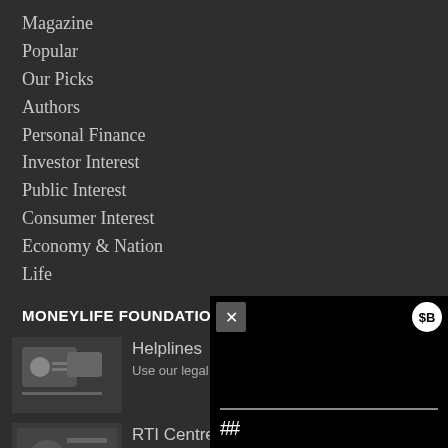Magazine
Popular
Our Picks
Authors
Personal Finance
Investor Interest
Public Interest
Consumer Interest
Economy & Nation
Life
MONEYLIFE FOUNDATION
Helplines
Use our legal a
RTI Centre
[Figure (screenshot): Video player overlay showing black screen with close button (X), logo icon, progress bar, and pause button (||)]